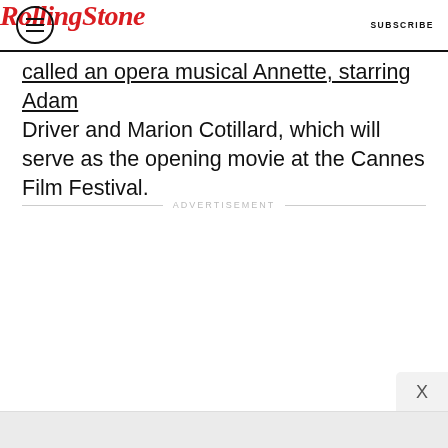Rolling Stone | SUBSCRIBE
Driver and Marion Cotillard, which will serve as the opening movie at the Cannes Film Festival.
ADVERTISEMENT